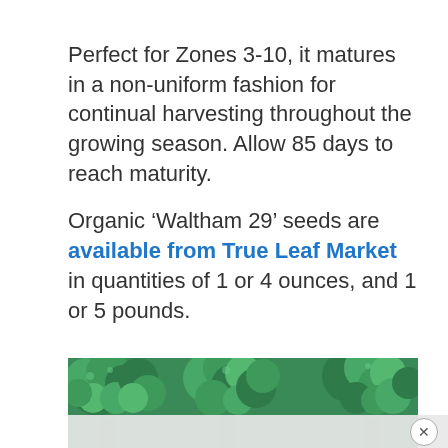Perfect for Zones 3-10, it matures in a non-uniform fashion for continual harvesting throughout the growing season. Allow 85 days to reach maturity.
Organic ‘Waltham 29’ seeds are available from True Leaf Market in quantities of 1 or 4 ounces, and 1 or 5 pounds.
[Figure (photo): Close-up photograph of green broccoli heads, partially cropped at bottom of page, with a light-colored advertisement overlay bar at the very bottom.]